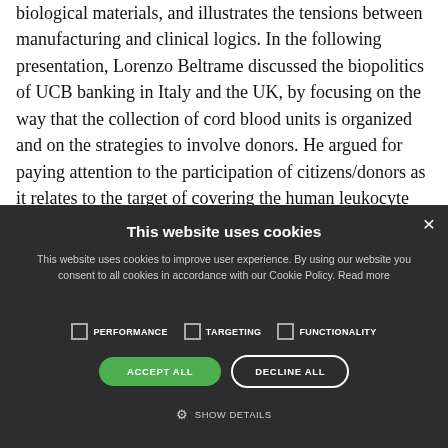biological materials, and illustrates the tensions between manufacturing and clinical logics. In the following presentation, Lorenzo Beltrame discussed the biopolitics of UCB banking in Italy and the UK, by focusing on the way that the collection of cord blood units is organized and on the strategies to involve donors. He argued for paying attention to the participation of citizens/donors as it relates to the target of covering the human leukocyte antigen (HLA) variability in possible recipients. Astha Jaiswal shifted the focus on the
[Figure (screenshot): Cookie consent modal overlay with dark background. Title: 'This website uses cookies'. Body text about cookie policy. Three unchecked checkboxes: PERFORMANCE, TARGETING, FUNCTIONALITY. Two buttons: ACCEPT ALL (green, rounded) and DECLINE ALL (outline, rounded). Link: gear icon + SHOW DETAILS. Close button (×) in top right.]